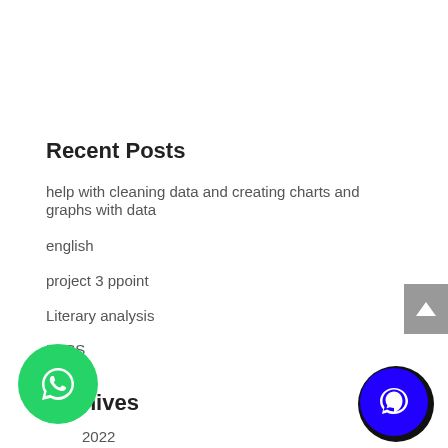Recent Posts
help with cleaning data and creating charts and graphs with data
english
project 3 ppoint
Literary analysis
HLSS
Archives
2022
June 2022